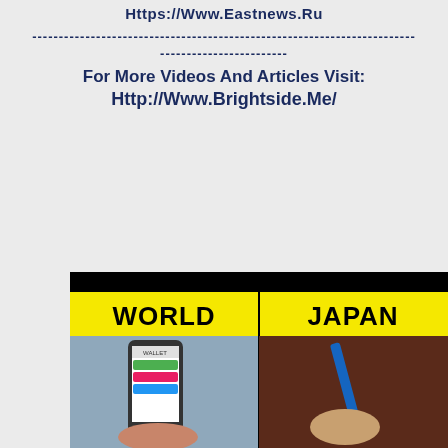Https://Www.Eastnews.Ru
------------------------------------------------------------------------
------------------------
For More Videos And Articles Visit:
Http://Www.Brightside.Me/
[Figure (infographic): Split comparison infographic with black background and yellow bar. Left panel labeled WORLD shows a hand holding a smartphone with wallet app. Right panel labeled JAPAN shows a hand holding a blue pen/pencil writing.]